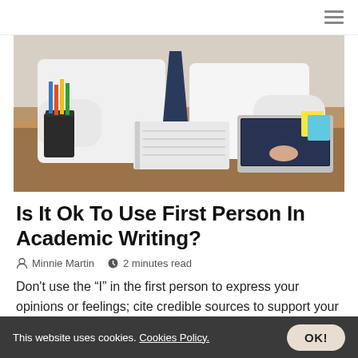[Figure (photo): Person in white shirt sitting at a wooden desk with a laptop, notebook, pencil holder with colored pencils, and papers. The scene is photographed from mid-torso level showing a work/study setting.]
Is It Ok To Use First Person In Academic Writing?
Minnie Martin   2 minutes read
Don't use the “I” in the first person to express your opinions or feelings; cite credible sources to support your academic argument. The APA advocates using the first person (I) when describing your own research study.
This website uses cookies. Cookies Policy.  OK!